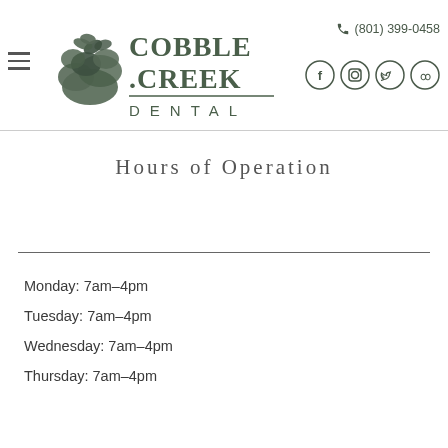[Figure (logo): Cobble Creek Dental logo with illustrated rock formation and stylized text, olive/dark green color scheme]
(801) 399-0458
Hours of Operation
Monday: 7am-4pm
Tuesday: 7am-4pm
Wednesday: 7am-4pm
Thursday: 7am-4pm